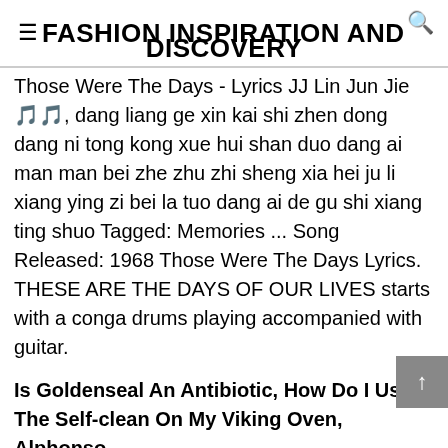≡ FASHION INSPIRATION AND DISCOVERY
Those Were The Days - Lyrics JJ Lin Jun Jie 🎵🎵, dang liang ge xin kai shi zhen dong dang ni tong kong xue hui shan duo dang ai man man bei zhe zhu zhi sheng xia hei ju li xiang ying zi bei la tuo dang ai de gu shi xiang ting shuo Tagged: Memories ... Song Released: 1968 Those Were The Days Lyrics. THESE ARE THE DAYS OF OUR LIVES starts with a conga drums playing accompanied with guitar.
Is Goldenseal An Antibiotic, How Do I Use The Self-clean On My Viking Oven, Alphonso